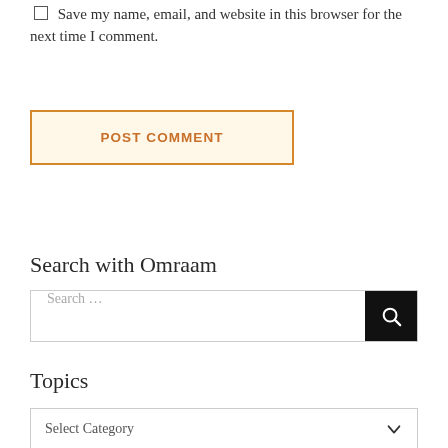Save my name, email, and website in this browser for the next time I comment.
POST COMMENT
Search with Omraam
Search …
Topics
Select Category